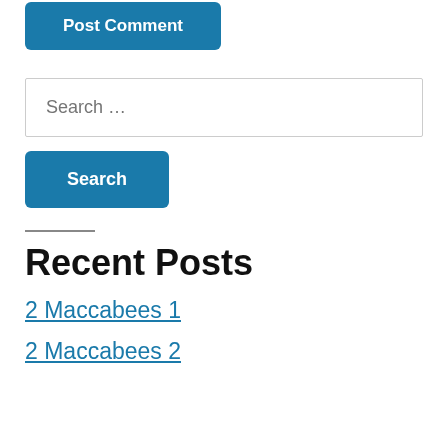Post Comment
[Figure (screenshot): Search input field with placeholder text 'Search …']
Search
Recent Posts
2 Maccabees 1
2 Maccabees 2